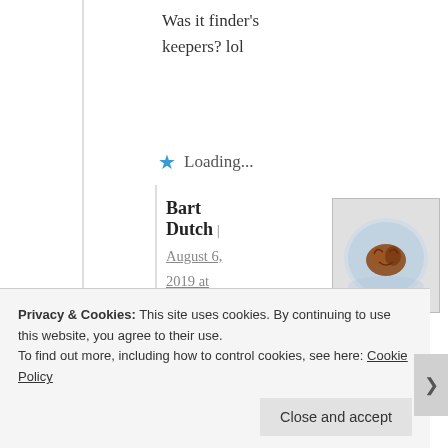Was it finder's keepers? lol
Loading...
Bart Dutch | August 6, 2019 at 10:24 am | Reply
[Figure (photo): Avatar image showing a brain or organ inside ice/plastic wrap]
Probably an incentive to
Privacy & Cookies: This site uses cookies. By continuing to use this website, you agree to their use. To find out more, including how to control cookies, see here: Cookie Policy
Close and accept